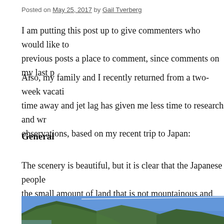Posted on May 25, 2017 by Gail Tverberg
I am putting this post up to give commenters who would like to previous posts a place to comment, since comments on my last p
Also, my family and I recently returned from a two-week vacati time away and jet lag has given me less time to research and wr observations, based on my recent trip to Japan:
General
The scenery is beautiful, but it is clear that the Japanese people the small amount of land that is not mountainous and forested.
[Figure (photo): Mountainous forested landscape in Japan with blue sky and a contrail]